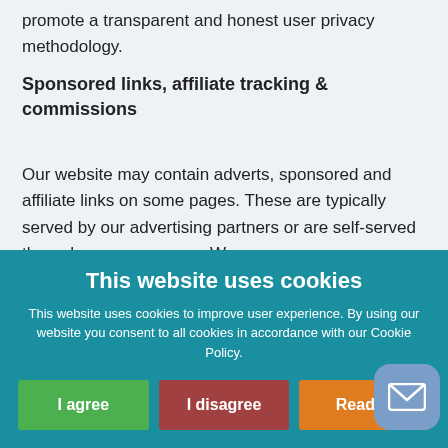promote a transparent and honest user privacy methodology.
Sponsored links, affiliate tracking & commissions
Our website may contain adverts, sponsored and affiliate links on some pages. These are typically served by our advertising partners or are self-served through our own means. We
This website uses cookies
This website uses cookies to improve user experience. By using our website you consent to all cookies in accordance with our Cookie Policy.
I agree | I disagree | Read m